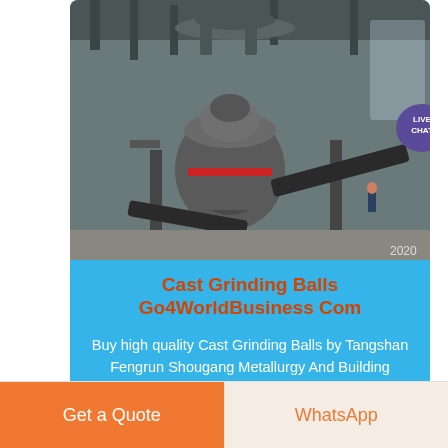[Figure (photo): Industrial grinding equipment inside a large factory building, showing a large cylindrical grinding mill with conveyor belts and industrial machinery, dated 2020]
Cast Grinding Balls Go4WorldBusiness Com
Buy high quality Cast Grinding Balls by Tangshan Fengrun Shougang Metallurgy And Building Materials Co ltd Supplier from China Product Id 658361 …
Get a Quote
WhatsApp